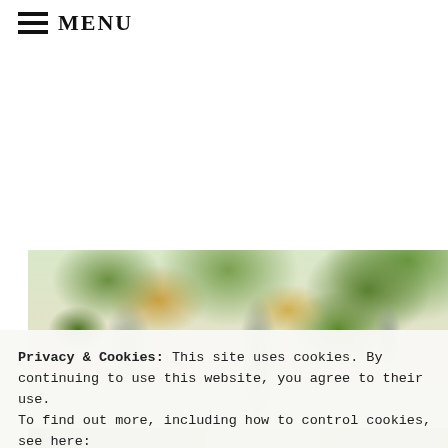≡ MENU
[Figure (photo): Outdoor photo showing tree canopy with green and orange-yellow autumn leaves against a light sky background]
Privacy & Cookies: This site uses cookies. By continuing to use this website, you agree to their use.
To find out more, including how to control cookies, see here: Privacy Policy
Close and accept